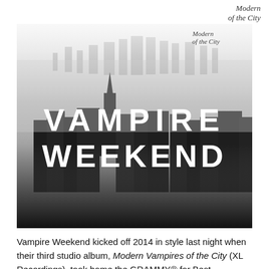Modern Vampires of the City
[Figure (photo): Black and white aerial photograph of a city skyline (New York City) shrouded in fog/mist, with the text 'VAMPIRE WEEKEND' in large white bold letters overlaid across the center of the image. A cursive logo reading 'Modern Vampires of the City' appears in the top-right corner of the image.]
Vampire Weekend kicked off 2014 in style last night when their third studio album, Modern Vampires of the City (XL Recordings), took home the GRAMMY® for Best Alternative